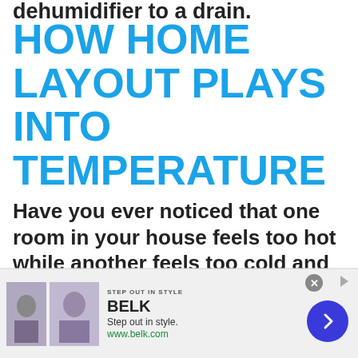dehumidifier to a drain.
HOW HOME LAYOUT PLAYS INTO TEMPERATURE
Have you ever noticed that one room in your house feels too hot while another feels too cold and nothing you change on your
[Figure (other): Advertisement banner for Belk department store showing 'Step out in style.' with product images and www.belk.com URL, including a close button and navigation arrow button.]